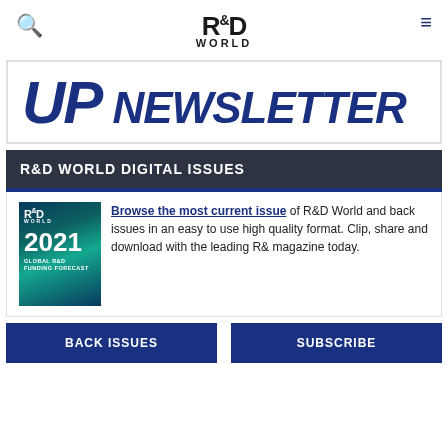R&D WORLD
[Figure (illustration): Newsletter banner with bold blue text 'UP NEWSLETTER' in large uppercase italic font]
R&D WORLD DIGITAL ISSUES
[Figure (photo): R&D World 2021 Global R&D Funding Forecast magazine cover with teal/blue digital world map background]
Browse the most current issue of R&D World and back issues in an easy to use high quality format. Clip, share and download with the leading R& magazine today.
BACK ISSUES
SUBSCRIBE